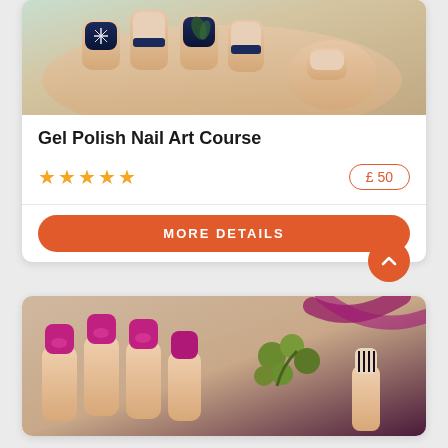[Figure (photo): Close-up photo of hands with decorated gel polish nail art — dark blue/navy nails with white snowflake and tropical leaf designs, and natural/nude nails with dark tips]
Gel Polish Nail Art Course
★★★★★
£ 50
MORE DETAILS
[Figure (photo): Close-up photo of hands with magenta/pink gel polish nails alongside green berries and purple ribbon decorations]